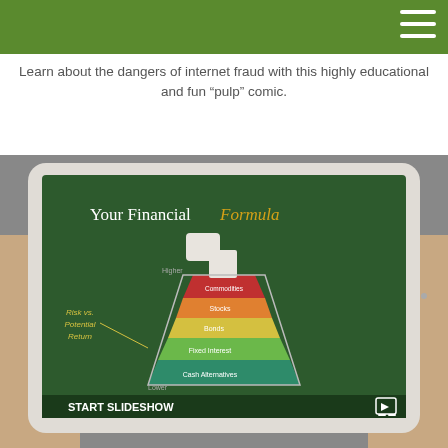Learn about the dangers of internet fraud with this highly educational and fun “pulp” comic.
[Figure (photo): Hands holding a tablet displaying a slide titled 'Your Financial Formula' showing a chemistry flask graphic with investment risk pyramid levels (Cash Alternatives, Fixed Interest, Bonds, Stocks, Commodities) from lower to higher risk vs potential return. A 'START SLIDESHOW' button with a slideshow icon appears at the bottom.]